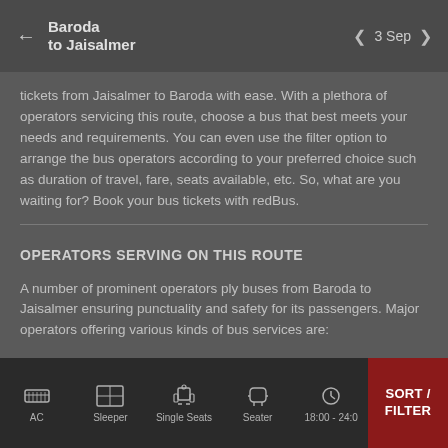Baroda to Jaisalmer — 3 Sep
tickets from Jaisalmer to Baroda with ease. With a plethora of operators servicing this route, choose a bus that best meets your needs and requirements. You can even use the filter option to arrange the bus operators according to your preferred choice such as duration of travel, fare, seats available, etc. So, what are you waiting for? Book your bus tickets with redBus.
OPERATORS SERVING ON THIS ROUTE
A number of prominent operators ply buses from Baroda to Jaisalmer ensuring punctuality and safety for its passengers. Major operators offering various kinds of bus services are:
AC | Sleeper | Single Seats | Seater | 18:00 - 24:00 | SORT / FILTER